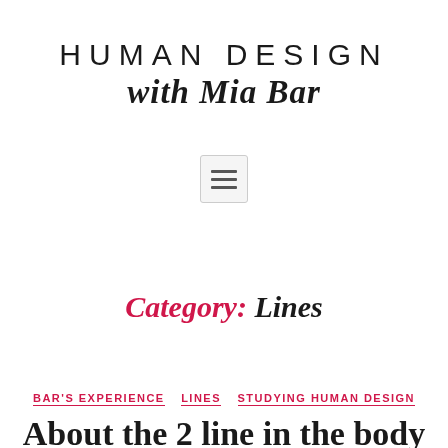HUMAN DESIGN with Mia Bar
[Figure (other): Hamburger menu icon button with three horizontal lines inside a rounded rectangle border]
Category: Lines
BAR'S EXPERIENCE   LINES   STUDYING HUMAN DESIGN
About the 2 line in the body